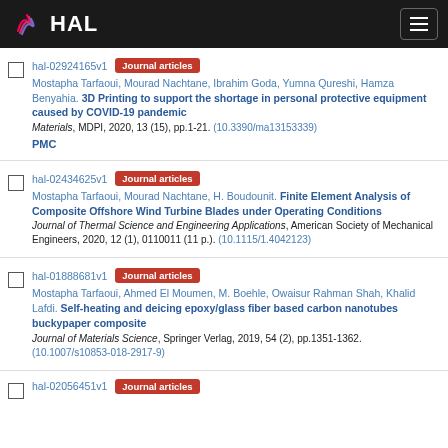HAL
hal-02924165v1 | Journal articles
Mostapha Tarfaoui, Mourad Nachtane, Ibrahim Goda, Yumna Qureshi, Hamza Benyahia. 3D Printing to support the shortage in personal protective equipment caused by COVID-19 pandemic
Materials, MDPI, 2020, 13 (15), pp.1-21. (10.3390/ma13153339)
PMC
hal-02434625v1 | Journal articles
Mostapha Tarfaoui, Mourad Nachtane, H. Boudounit. Finite Element Analysis of Composite Offshore Wind Turbine Blades under Operating Conditions
Journal of Thermal Science and Engineering Applications, American Society of Mechanical Engineers, 2020, 12 (1), 0110011 (11 p.). (10.1115/1.4042123)
hal-01888681v1 | Journal articles
Mostapha Tarfaoui, Ahmed El Moumen, M. Boehle, Owaisur Rahman Shah, Khalid Lafdi. Self-heating and deicing epoxy/glass fiber based carbon nanotubes buckypaper composite
Journal of Materials Science, Springer Verlag, 2019, 54 (2), pp.1351-1362. (10.1007/s10853-018-2917-9)
hal-02056451v1 | Journal articles